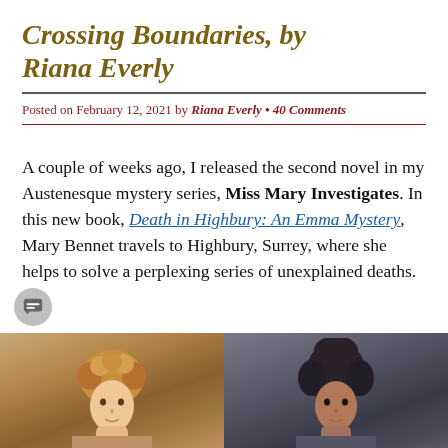Crossing Boundaries, by Riana Everly
Posted on February 12, 2021 by Riana Everly • 40 Comments
A couple of weeks ago, I released the second novel in my Austenesque mystery series, Miss Mary Investigates. In this new book, Death in Highbury: An Emma Mystery, Mary Bennet travels to Highbury, Surrey, where she helps to solve a perplexing series of unexplained deaths.
[Figure (photo): Two portrait photos side by side: left shows a person with curly reddish-blonde hair against a warm background; right shows a person with dark hair against a dark background.]